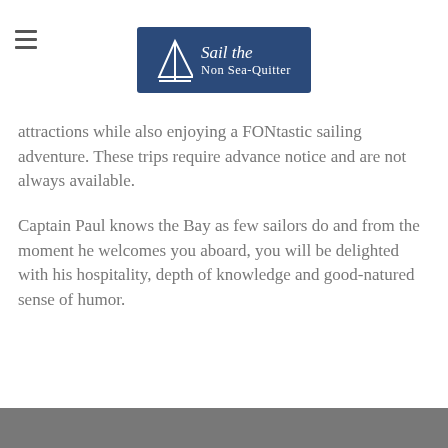Sail the Non Sea-Quitter
attractions while also enjoying a FONtastic sailing adventure. These trips require advance notice and are not always available.
Captain Paul knows the Bay as few sailors do and from the moment he welcomes you aboard, you will be delighted with his hospitality, depth of knowledge and good-natured sense of humor.